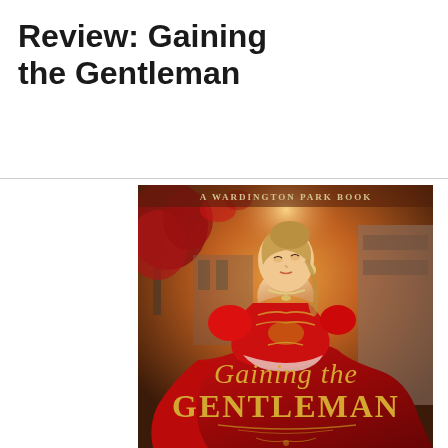Review: Gaining the Gentleman
[Figure (illustration): Book cover of 'Gaining the Gentleman – A Wardington Park Book'. A woman in an elaborate red off-shoulder ballgown with gold embroidery looks upward. She has blonde hair pulled back, wears a diamond necklace and earrings. Background shows autumn red-leafed trees and stone architecture with warm golden light. Title text in gold script: 'Gaining the' above and 'GENTLEMAN' below in large serif capitals.]